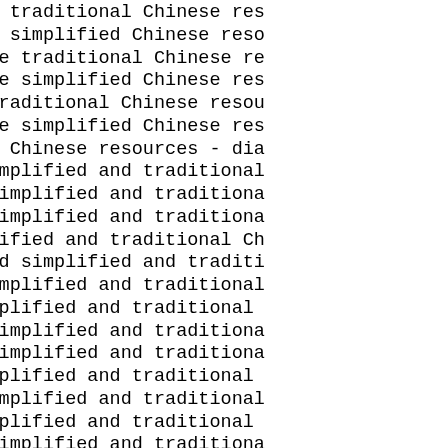shell32: Update traditional Chinese resources
shell32: Update simplified Chinese resources
comdlg32: Update traditional Chinese re
comdlg32: Update simplified Chinese resources
comctl32: Add traditional Chinese resources
comdlg32: Update simplified Chinese res
notepad: Update Chinese resources - dia
wordpad: Add simplified and traditional
winemine: Add simplified and traditiona
wineboot: Add simplified and traditiona
view: Add simplified and traditional Ch
uninstaller: Add simplified and traditi
taskmgr: Add simplified and traditional
appwiz: Add simplified and traditional
avifil32: Add simplified and traditiona
browseui: Add simplified and traditiona
credui: Add simplified and traditional
gphoto2: Add simplified and traditional
htctrl: Add simplified and traditional
localspl: Add simplified and traditiona
localui: Add simplified and traditional
mpr: Add simplified and traditional Chi
msacm32: Add simplified and traditional
mshtml: Add simplified and traditional
msi: Add simplified and traditional Chi